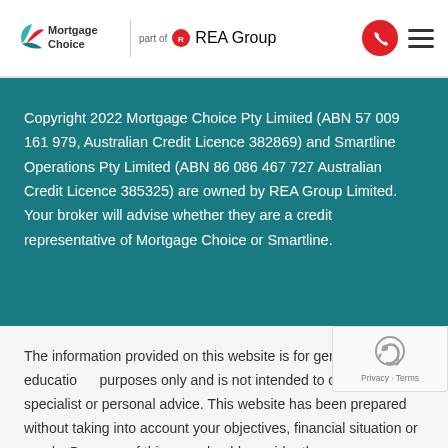Mortgage Choice — part of REA Group
Copyright 2022 Mortgage Choice Pty Limited (ABN 57 009 161 979, Australian Credit Licence 382869) and Smartline Operations Pty Limited (ABN 86 086 467 727 Australian Credit Licence 385325) are owned by REA Group Limited. Your broker will advise whether they are a credit representative of Mortgage Choice or Smartline.
The information provided on this website is for general education purposes only and is not intended to constitute specialist or personal advice. This website has been prepared without taking into account your objectives, financial situation or needs. Because of this, you should consider the appropriateness of the advice to your own situation and